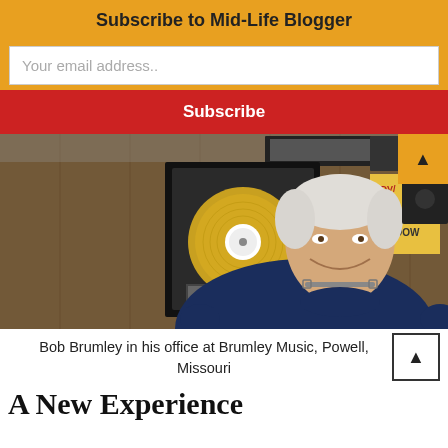Subscribe to Mid-Life Blogger
Your email address..
Subscribe
[Figure (photo): Bob Brumley standing smiling in his office in front of a gold record display and wood-paneled wall, wearing a dark blue t-shirt with glasses around his neck]
Bob Brumley in his office at Brumley Music, Powell, Missouri
A New Experience